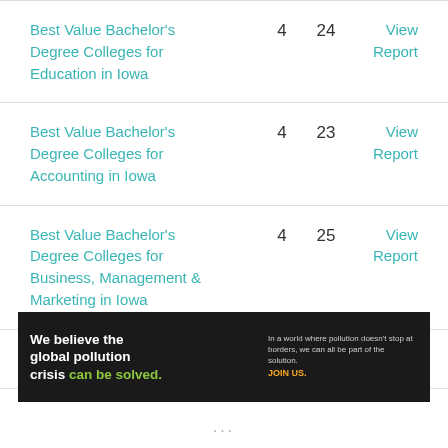| Report Name | Years | Schools | Action |
| --- | --- | --- | --- |
| Best Value Bachelor's Degree Colleges for Education in Iowa | 4 | 24 | View Report |
| Best Value Bachelor's Degree Colleges for Accounting in Iowa | 4 | 23 | View Report |
| Best Value Bachelor's Degree Colleges for Business, Management & Marketing in Iowa | 4 | 25 | View Report |
| Best Value Colleges for … | 4 | 24 | View |
[Figure (infographic): Pure Earth advertisement banner: 'We believe the global pollution crisis can be solved.' with logo and JOIN US call to action.]